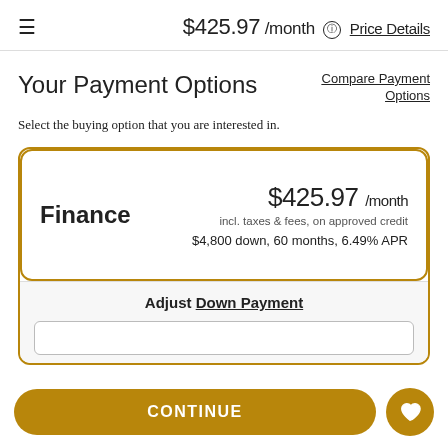≡  $425.97 /month  ⓘ Price Details
Your Payment Options
Compare Payment Options
Select the buying option that you are interested in.
| Finance | $425.97 /month | incl. taxes & fees, on approved credit | $4,800 down, 60 months, 6.49% APR |
Adjust Down Payment
CONTINUE